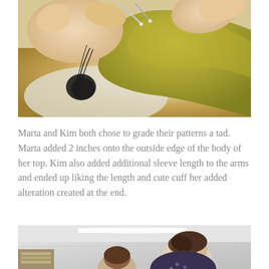[Figure (photo): Close-up of hands holding knitting needles working with dark/black thread and yellow-green fabric]
Marta and Kim both chose to grade their patterns a tad. Marta added 2 inches onto the outside edge of the body of her top. Kim also added additional sleeve length to the arms and ended up liking the length and cute cuff her added alteration created at the end.
[Figure (photo): Two people in a workshop or classroom space, one with glasses leaning over, wearing a patterned shirt]